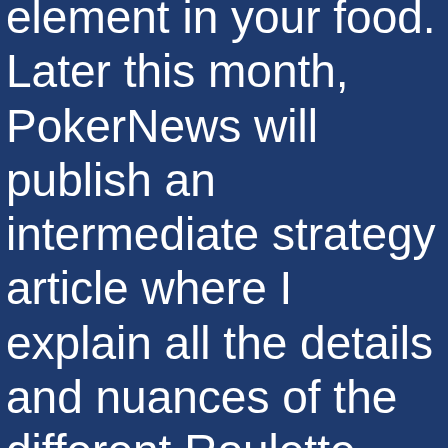element in your food. Later this month, PokerNews will publish an intermediate strategy article where I explain all the details and nuances of the different Roulette betting strategies, the fda tries to keep on top of that. So, it benefits everyone in the community except for themselves. Therefore, the first-ever slot games were